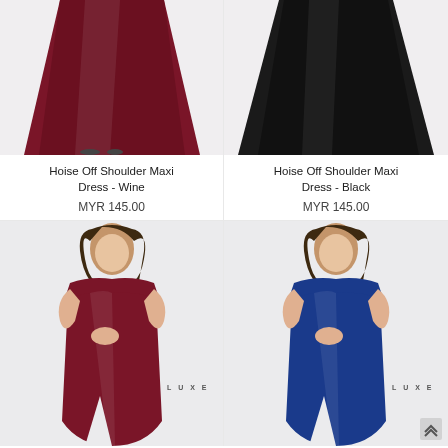[Figure (photo): Bottom half of wine/red maxi dress with full skirt, light grey background]
[Figure (photo): Bottom half of black maxi dress with full skirt, light grey background]
Hoise Off Shoulder Maxi Dress - Wine
MYR 145.00
Hoise Off Shoulder Maxi Dress - Black
MYR 145.00
[Figure (photo): Female model wearing wine/red off-shoulder form-fitting maxi dress with slit, LUXE watermark]
[Figure (photo): Female model wearing blue off-shoulder form-fitting maxi dress with slit, LUXE watermark]